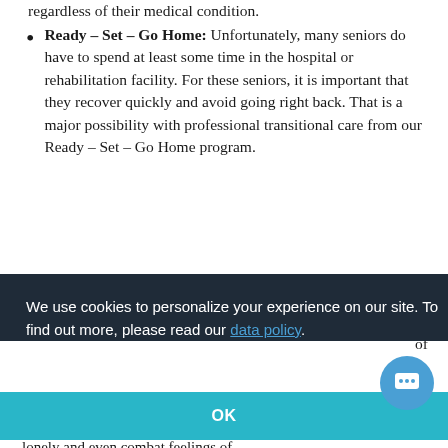regardless of their medical condition.
Ready – Set – Go Home: Unfortunately, many seniors do have to spend at least some time in the hospital or rehabilitation facility. For these seniors, it is important that they recover quickly and avoid going right back. That is a major possibility with professional transitional care from our Ready – Set – Go Home program.
We use cookies to personalize your experience on our site. To find out more, please read our data policy.
OK
lonely and even combat feelings of